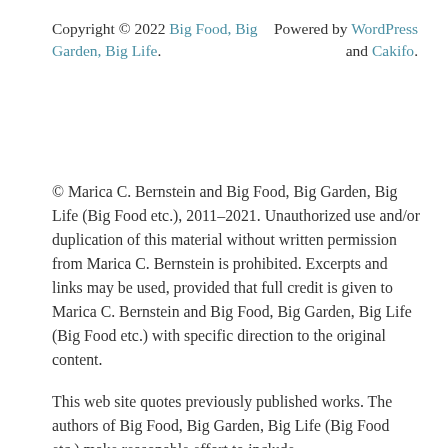Copyright © 2022 Big Food, Big Garden, Big Life. Powered by WordPress and Cakifo.
© Marica C. Bernstein and Big Food, Big Garden, Big Life (Big Food etc.), 2011-2021. Unauthorized use and/or duplication of this material without written permission from Marica C. Bernstein is prohibited. Excerpts and links may be used, provided that full credit is given to Marica C. Bernstein and Big Food, Big Garden, Big Life (Big Food etc.) with specific direction to the original content.
This web site quotes previously published works. The authors of Big Food, Big Garden, Big Life (Big Food etc.) make reasonable effort to include